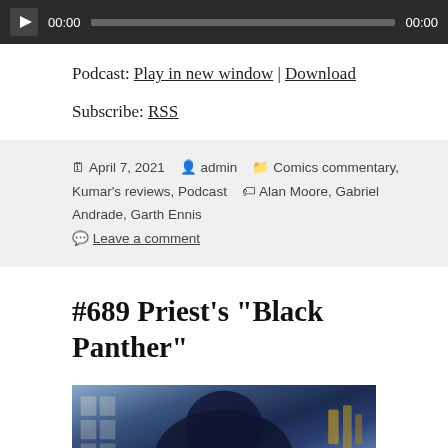[Figure (other): Audio player bar with play button, timestamp 00:00, progress bar, and end time 00:00 on dark background]
Podcast: Play in new window | Download
Subscribe: RSS
Posted April 7, 2021  By admin  Categories Comics commentary, Kumar's reviews, Podcast  Tags Alan Moore, Gabriel Andrade, Garth Ennis  Leave a comment
#689 Priest’s “Black Panther”
[Figure (illustration): Comic book cover image of Black Panther character in dark costume]